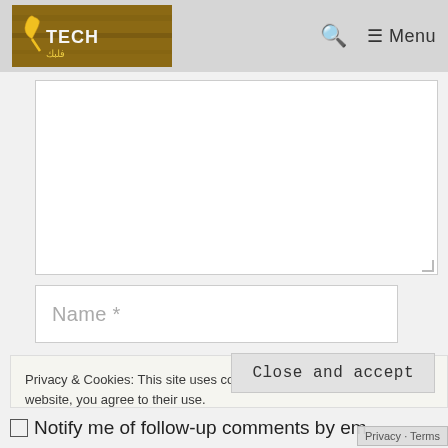Tech [logo] | Q Menu
[Figure (screenshot): Comment text area input box (empty), with resize handle at bottom-right]
[Figure (screenshot): Name input field with placeholder text 'Name *']
Privacy & Cookies: This site uses cookies. By continuing to use this website, you agree to their use.
To find out more, including how to control cookies, see here:
Cookie Policy
Close and accept
Notify me of follow-up comments by email.
Privacy · Terms